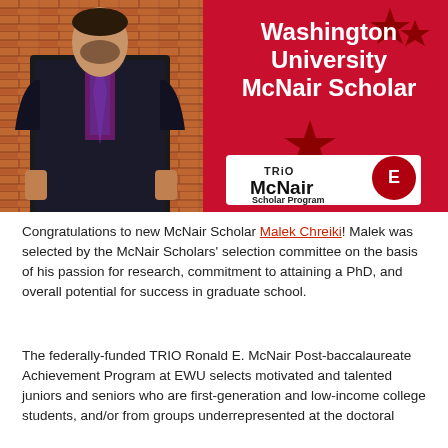[Figure (photo): Banner image showing a young man in a dark suit with purple shirt and tie, standing in front of a brick wall on the left side. On the right side is a red background with white bold text reading 'Washington University McNair Scholar', decorative red stars, and the TRIO McNair Scholar Program logo (white box with black text and an eagle emblem).]
Congratulations to new McNair Scholar Malek Chreiki! Malek was selected by the McNair Scholars' selection committee on the basis of his passion for research, commitment to attaining a PhD, and overall potential for success in graduate school.
The federally-funded TRIO Ronald E. McNair Post-baccalaureate Achievement Program at EWU selects motivated and talented juniors and seniors who are first-generation and low-income college students, and/or from groups underrepresented at the doctoral